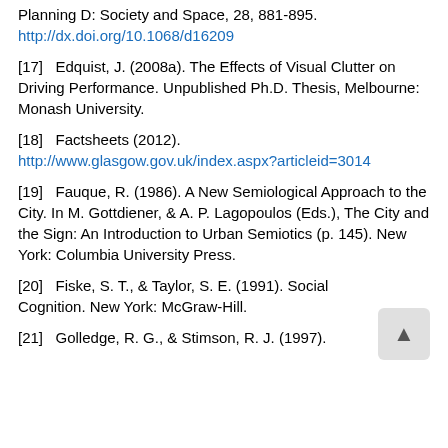Planning D: Society and Space, 28, 881-895. http://dx.doi.org/10.1068/d16209
[17]   Edquist, J. (2008a). The Effects of Visual Clutter on Driving Performance. Unpublished Ph.D. Thesis, Melbourne: Monash University.
[18]   Factsheets (2012). http://www.glasgow.gov.uk/index.aspx?articleid=3014
[19]   Fauque, R. (1986). A New Semiological Approach to the City. In M. Gottdiener, & A. P. Lagopoulos (Eds.), The City and the Sign: An Introduction to Urban Semiotics (p. 145). New York: Columbia University Press.
[20]   Fiske, S. T., & Taylor, S. E. (1991). Social Cognition. New York: McGraw-Hill.
[21]   Golledge, R. G., & Stimson, R. J. (1997).